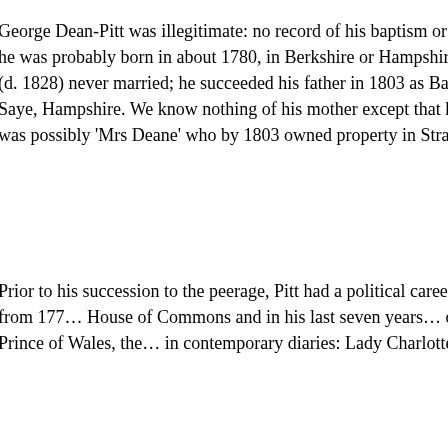George Dean-Pitt was illegitimate: no record of his baptism or birth has been found, but he was probably born in about 1780, in Berkshire or Hampshire. His father George Pitt (d. 1828) never married; he succeeded his father in 1803 as Baron Rivers of Stratfield Saye, Hampshire. We know nothing of his mother except that her name was Dean; she was possibly 'Mrs Deane' who by 1803 owned property in Stratfield Saye
Prior to his succession to the peerage, Pitt had a political career as Tory MP for Dorset from 177... House of Commons and in his last seven years... drinking companion of the Prince of Wales, the... in contemporary diaries: Lady Charlotte Bury d...
““ a pleasant and elegant man… one of the dandies of a former century.
Other accounts were not so complimentary. Lo...